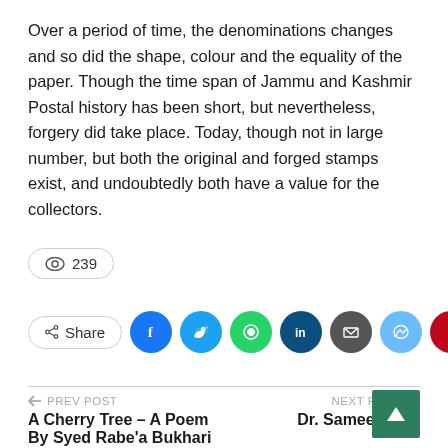Over a period of time, the denominations changes and so did the shape, colour and the equality of the paper. Though the time span of Jammu and Kashmir Postal history has been short, but nevertheless, forgery did take place. Today, though not in large number, but both the original and forged stamps exist, and undoubtedly both have a value for the collectors.
👁 239
[Figure (infographic): Share button row with social media icons: Facebook, Twitter, WhatsApp, LinkedIn, Email, Messenger, Pinterest, and More (+)]
← PREV POST
A Cherry Tree – A Poem By Syed Rabe'a Bukhari
NEXT POST →
Dr. Sameer Kaul